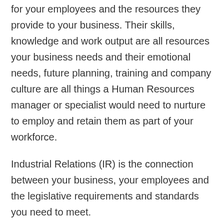for your employees and the resources they provide to your business. Their skills, knowledge and work output are all resources your business needs and their emotional needs, future planning, training and company culture are all things a Human Resources manager or specialist would need to nurture to employ and retain them as part of your workforce.
Industrial Relations (IR) is the connection between your business, your employees and the legislative requirements and standards you need to meet.
Neither HR nor IR is a one size fits all model. With hundreds of different requirements on both an industry and legislative compliance level, utilising an industry specialist in your particular field of business is critical to your business's